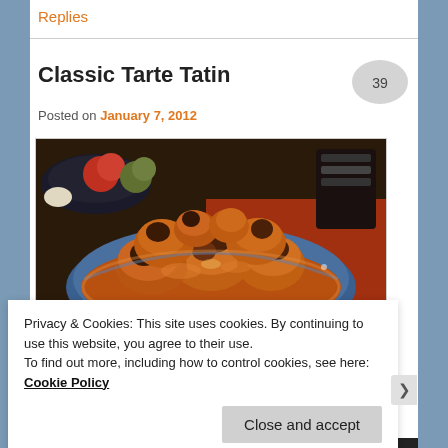Replies
Classic Tarte Tatin
Posted on January 7, 2012
[Figure (photo): A classic tarte tatin — caramelized upside-down apple tart in a blue dish, with apples and other items visible in the background on a dark surface.]
Privacy & Cookies: This site uses cookies. By continuing to use this website, you agree to their use.
To find out more, including how to control cookies, see here: Cookie Policy
Close and accept